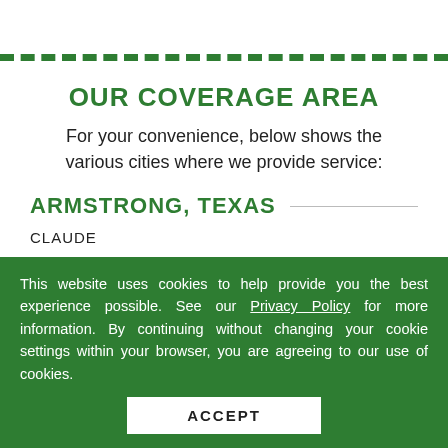OUR COVERAGE AREA
For your convenience, below shows the various cities where we provide service:
ARMSTRONG, TEXAS
CLAUDE
This website uses cookies to help provide you the best experience possible. See our Privacy Policy for more information. By continuing without changing your cookie settings within your browser, you are agreeing to our use of cookies.
ACCEPT